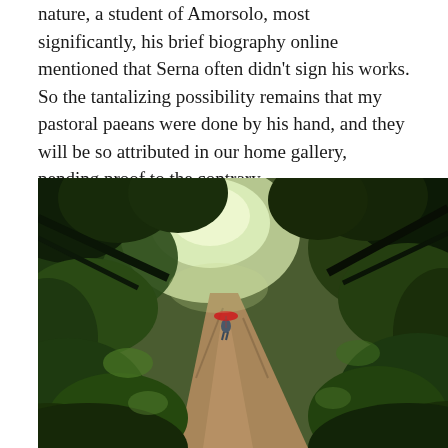nature, a student of Amorsolo, most significantly, his brief biography online mentioned that Serna often didn't sign his works. So the tantalizing possibility remains that my pastoral paeans were done by his hand, and they will be so attributed in our home gallery, pending proof to the contrary.
[Figure (illustration): An oil painting depicting a lush tropical forest path with dense green foliage on both sides. A solitary figure carrying a red umbrella walks along a wet dirt road toward a bright clearing in the background. The scene is rendered in a naturalistic style reminiscent of Filipino masters.]